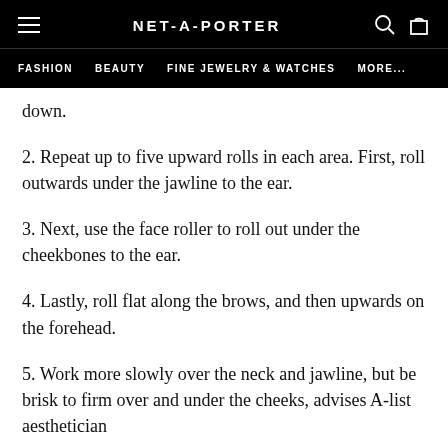NET-A-PORTER | FASHION | BEAUTY | FINE JEWELRY & WATCHES | MORE...
down.
2. Repeat up to five upward rolls in each area. First, roll outwards under the jawline to the ear.
3. Next, use the face roller to roll out under the cheekbones to the ear.
4. Lastly, roll flat along the brows, and then upwards on the forehead.
5. Work more slowly over the neck and jawline, but be brisk to firm over and under the cheeks, advises A-list aesthetician